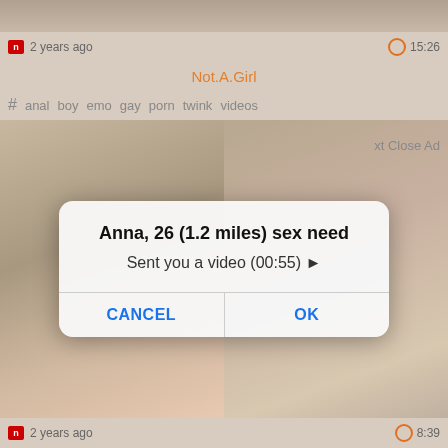[Figure (screenshot): Screenshot of a video website with a popup dialog overlay. Top bar shows '2 years ago' on left and '15:26' on right. Title 'Not.A.Girl' in orange. Tags: anal boy emo gay porn twink videos. Main image area shows blurred background. Dialog box overlay reads: 'Anna, 26 (1.2 miles) sex need' / 'Sent you a video (00:55) ▶' with CANCEL and OK buttons. Bottom bar shows '2 years ago' and '8:39'.]